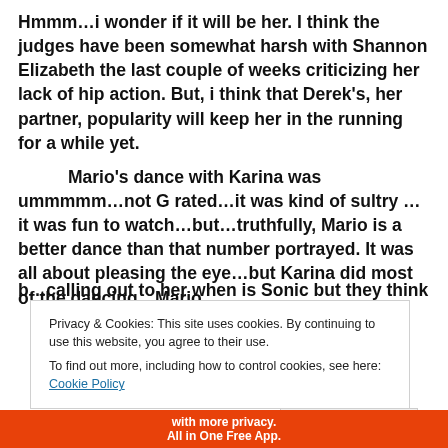Hmmm…i wonder if it will be her.  I think the judges have been somewhat harsh with Shannon Elizabeth the last couple of weeks criticizing her lack of hip action.  But, i think that Derek's, her partner, popularity  will keep her in the running for a while yet.
Mario's dance with Karina was ummmmm…not G rated…it was kind of sultry …it was fun to watch…but…truthfully, Mario is a better dance than that number portrayed.  It was all about pleasing the eye…but Karina did most of the dancing…Mario…
Privacy & Cookies: This site uses cookies. By continuing to use this website, you agree to their use.
To find out more, including how to control cookies, see here: Cookie Policy
Close and accept